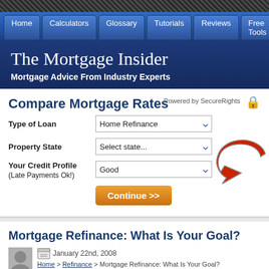[Figure (screenshot): Dark hatched top stripe decorative element]
Home | Calculators | Glossary | Tutorials | Reviews | Free Tools
The Mortgage Insider
Mortgage Advice From Industry Experts
Compare Mortgage Rates
Powered by SecureRights
Type of Loan: Home Refinance
Property State: Select state...
Your Credit Profile (Late Payments Ok!): Good
Continue >>
[Figure (illustration): Large red curved arrow pointing left]
Mortgage Refinance: What Is Your Goal?
January 22nd, 2008
Home > Refinance > Mortgage Refinance: What Is Your Goal?